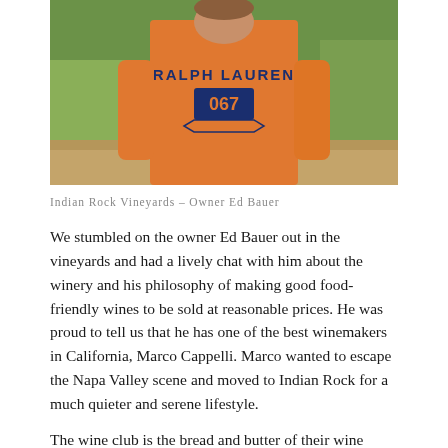[Figure (photo): A man wearing an orange Ralph Lauren 067 t-shirt standing outdoors in a vineyard setting, photographed from behind/side.]
Indian Rock Vineyards – Owner Ed Bauer
We stumbled on the owner Ed Bauer out in the vineyards and had a lively chat with him about the winery and his philosophy of making good food-friendly wines to be sold at reasonable prices. He was proud to tell us that he has one of the best winemakers in California, Marco Cappelli. Marco wanted to escape the Napa Valley scene and moved to Indian Rock for a much quieter and serene lifestyle.
The wine club is the bread and butter of their wine sales. They have capped the wine membership at 700, and as members decide to drop out they offer new memberships